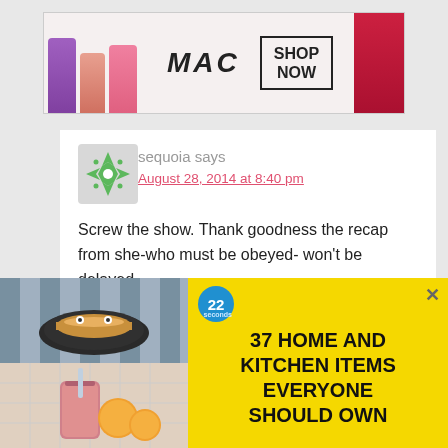[Figure (illustration): MAC cosmetics banner ad showing lipsticks in purple, pink, and red colors with MAC logo and SHOP NOW button]
sequoia says
August 28, 2014 at 8:40 pm
Screw the show. Thank goodness the recap from she-who must be obeyed- won't be delayed.
Reply
tamaratattles says
[Figure (illustration): Bottom advertisement showing food/kitchen items with text: 37 HOME AND KITCHEN ITEMS EVERYONE SHOULD OWN, with a 22 seconds badge and close X button, yellow background]